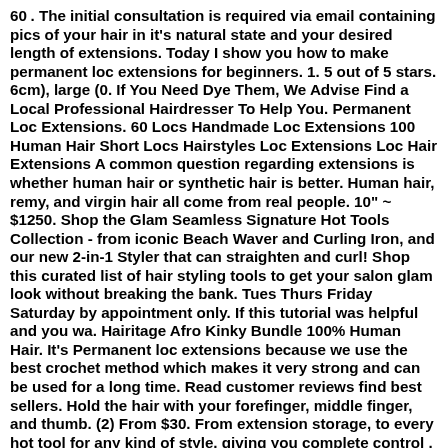60 . The initial consultation is required via email containing pics of your hair in it's natural state and your desired length of extensions. Today I show you how to make permanent loc extensions for beginners. 1. 5 out of 5 stars. 6cm), large (0. If You Need Dye Them, We Advise Find a Local Professional Hairdresser To Help You. Permanent Loc Extensions. 60 Locs Handmade Loc Extensions 100 Human Hair Short Locs Hairstyles Loc Extensions Loc Hair Extensions A common question regarding extensions is whether human hair or synthetic hair is better. Human hair, remy, and virgin hair all come from real people. 10" ~ $1250. Shop the Glam Seamless Signature Hot Tools Collection - from iconic Beach Waver and Curling Iron, and our new 2-in-1 Styler that can straighten and curl! Shop this curated list of hair styling tools to get your salon glam look without breaking the bank. Tues Thurs Friday Saturday by appointment only. If this tutorial was helpful and you wa. Hairitage Afro Kinky Bundle 100% Human Hair. It’s Permanent loc extensions because we use the best crochet method which makes it very strong and can be used for a long time. Read customer reviews find best sellers. Hold the hair with your forefinger, middle finger, and thumb. (2) From $30. From extension storage, to every hot tool for any kind of style, giving you complete control . com/products/crochet-needle-loc-toolBulk kinky hair used https://nzurinaturalsus. Push the hook in and pull it out repeatedly a few times. The first are human hair loc extensions, which are used if someone doesn't